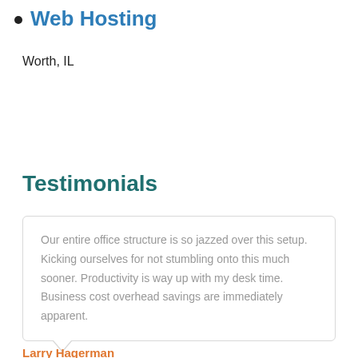Web Hosting
Worth, IL
Testimonials
Our entire office structure is so jazzed over this setup. Kicking ourselves for not stumbling onto this much sooner. Productivity is way up with my desk time. Business cost overhead savings are immediately apparent.
Larry Hagerman